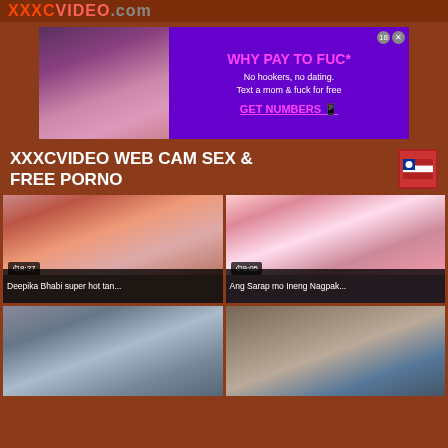XXXCVIDEO.com
[Figure (screenshot): Adult advertisement banner with image on left and purple background with text on right]
XXXCVIDEO WEB CAM SEX & FREE PORNO
[Figure (screenshot): Video thumbnail - Deepika Bhabi super hot tan... duration 8:27]
[Figure (screenshot): Video thumbnail - Ang Sarap mo Ineng Nagpak... duration 9:05]
[Figure (screenshot): Video thumbnail - partial view bottom left]
[Figure (screenshot): Video thumbnail - partial view bottom right]